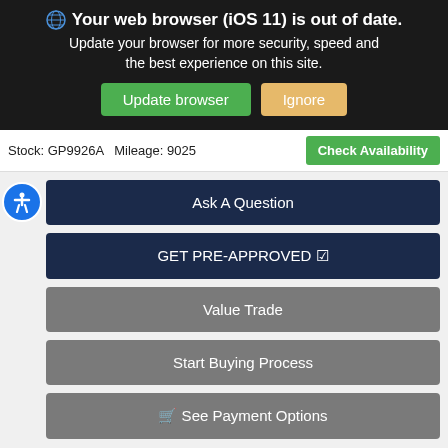[Figure (screenshot): Browser outdated notification banner with globe icon, bold title 'Your web browser (iOS 11) is out of date.', subtitle text, and two buttons: 'Update browser' (green) and 'Ignore' (tan/orange).]
Stock: GP9926A   Mileage: 9025
Check Availability
Ask A Question
GET PRE-APPROVED ☑
Value Trade
Start Buying Process
🛒 See Payment Options
Vehicle Summary